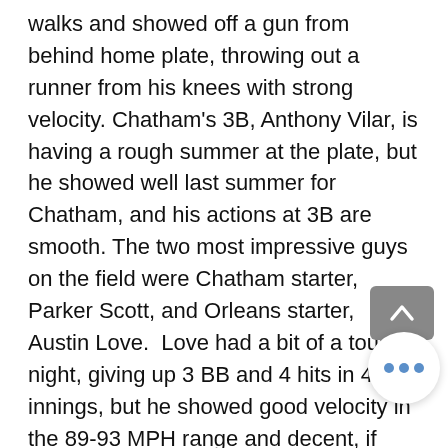walks and showed off a gun from behind home plate, throwing out a runner from his knees with strong velocity. Chatham's 3B, Anthony Vilar, is having a rough summer at the plate, but he showed well last summer for Chatham, and his actions at 3B are smooth. The two most impressive guys on the field were Chatham starter, Parker Scott, and Orleans starter, Austin Love.  Love had a bit of a tough night, giving up 3 BB and 4 hits in 4 innings, but he showed good velocity in the 89-93 MPH range and decent, if inconsistent bite on his slider.  He's having a good summer on the Cape, even if this start wasn't his best, but Love will be a guy worth watching.  Parker Scott stole the s... however.  A quick look at Scott's bio